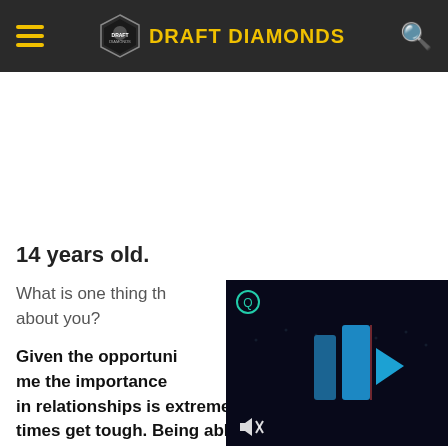DRAFT DIAMONDS
14 years old.
What is one thing that people may not know about you?
[Figure (screenshot): Video player screenshot showing blue geometric shapes on dark background with mute icon and circular menu icon]
Given the opportunity, my father showed me the importance of trust. Having trust in relationships is extremely important when times get tough. Being able to rely on someone